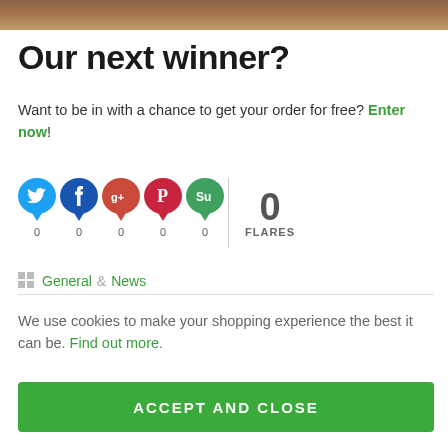[Figure (photo): Wooden surface photo strip at top of page]
Our next winner?
Want to be in with a chance to get your order for free? Enter now!
[Figure (infographic): Social share buttons: Twitter, Facebook, Google+, Pinterest, StumbleUpon with 0 FLARES counter]
General & News
We use cookies to make your shopping experience the best it can be. Find out more.
ACCEPT AND CLOSE
CUSTOM SETTINGS